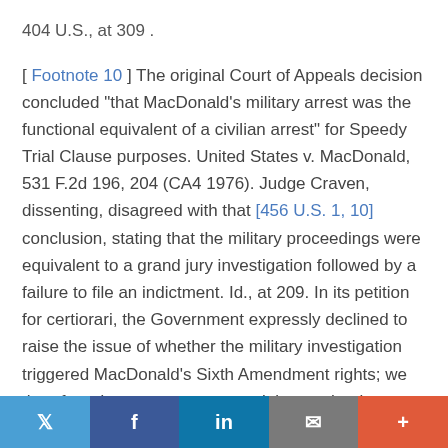404 U.S., at 309 .
[ Footnote 10 ] The original Court of Appeals decision concluded "that MacDonald's military arrest was the functional equivalent of a civilian arrest" for Speedy Trial Clause purposes. United States v. MacDonald, 531 F.2d 196, 204 (CA4 1976). Judge Craven, dissenting, disagreed with that [456 U.S. 1, 10] conclusion, stating that the military proceedings were equivalent to a grand jury investigation followed by a failure to file an indictment. Id., at 209. In its petition for certiorari, the Government expressly declined to raise the issue of whether the military investigation triggered MacDonald's Sixth Amendment rights; we therefore do not express any opinion on that issue.
[ Footnote 11 ] The initial Court of Appeals panel held that the prosecution by the Army and that by the Justice